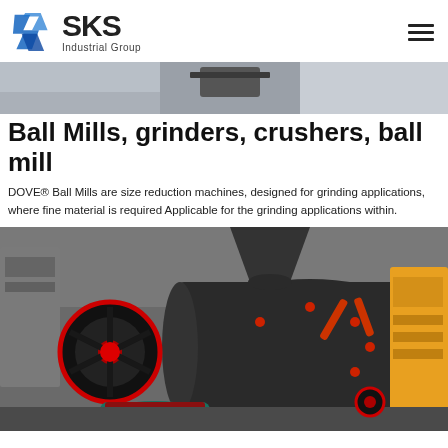[Figure (logo): SKS Industrial Group logo with blue angular double-S icon and bold black SKS text with 'Industrial Group' subtitle]
[Figure (photo): Partial top banner photo of industrial machinery, cropped at top]
Ball Mills, grinders, crushers, ball mill
DOVE® Ball Mills are size reduction machines, designed for grinding applications, where fine material is required Applicable for the grinding applications within.
[Figure (photo): Industrial ball mill and crusher machinery in a factory setting, showing large dark metal grinding mill with red wheel and motor, yellow equipment in background]